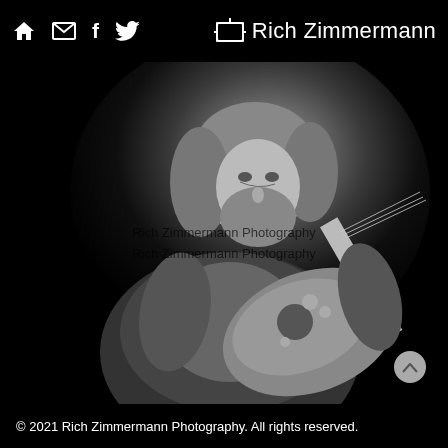Rich Zimmermann Photography — navigation icons: home, mail, facebook, twitter/bird, logo
[Figure (photo): Black and white photograph of a bearded man with long hair playing an electric guitar on stage, photographed from a low angle. The background is very dark/black. Two watermarks reading 'Rich Zimmermann Photography' are overlaid on the image.]
© 2021 Rich Zimmermann Photography. All rights reserved.